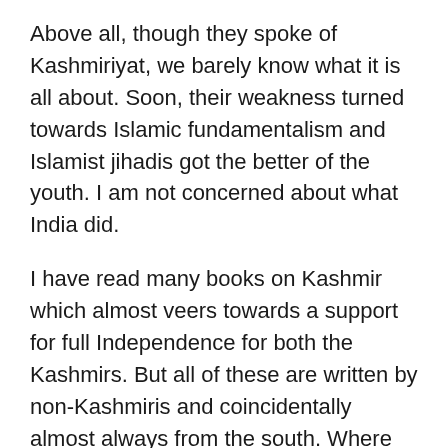Above all, though they spoke of Kashmiriyat, we barely know what it is all about. Soon, their weakness turned towards Islamic fundamentalism and Islamist jihadis got the better of the youth. I am not concerned about what India did.
I have read many books on Kashmir which almost veers towards a support for full Independence for both the Kashmirs. But all of these are written by non-Kashmiris and coincidentally almost always from the south. Where are the Kashmiri scholars? What kind of concern do they reflect in their PhD theses? I don't think that we have anything of clarity.
The little that I get to learn about the Kashmiri psyche is from the shawlwallahs and the scholars who I meet. Were the politics of Kashmir left to be handled by shawlwallahs